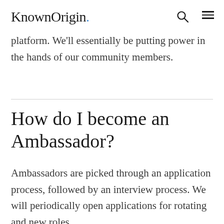KnownOrigin.
platform. We'll essentially be putting power in the hands of our community members.
How do I become an Ambassador?
Ambassadors are picked through an application process, followed by an interview process. We will periodically open applications for rotating and new roles.